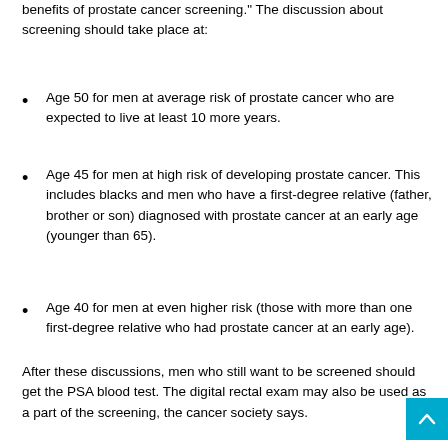benefits of prostate cancer screening." The discussion about screening should take place at:
Age 50 for men at average risk of prostate cancer who are expected to live at least 10 more years.
Age 45 for men at high risk of developing prostate cancer. This includes blacks and men who have a first-degree relative (father, brother or son) diagnosed with prostate cancer at an early age (younger than 65).
Age 40 for men at even higher risk (those with more than one first-degree relative who had prostate cancer at an early age).
After these discussions, men who still want to be screened should get the PSA blood test. The digital rectal exam may also be used as a part of the screening, the cancer society says.
For more information on prostate cancer, visit the American Canc